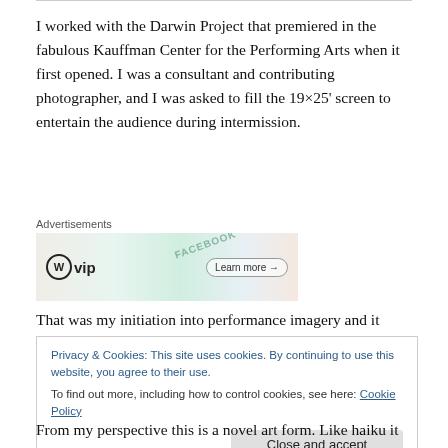I worked with the Darwin Project that premiered in the fabulous Kauffman Center for the Performing Arts when it first opened. I was a consultant and contributing photographer, and I was asked to fill the 19×25' screen to entertain the audience during intermission.
[Figure (other): WordPress VIP advertisement banner with overlapping app icons (Slack, Facebook, etc.) and a 'Learn more' button]
That was my initiation into performance imagery and it
Privacy & Cookies: This site uses cookies. By continuing to use this website, you agree to their use.
To find out more, including how to control cookies, see here: Cookie Policy
Close and accept
From my perspective this is a novel art form. Like haiku it